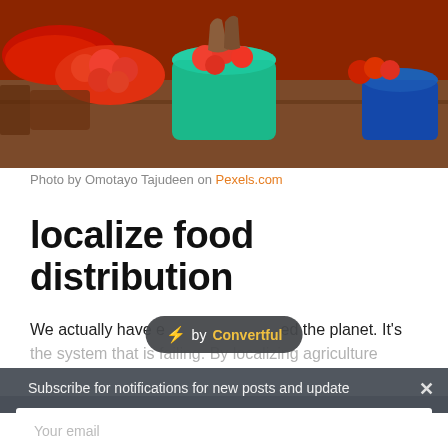[Figure (photo): Market photo showing red tomatoes and vegetables in a teal/green bucket at an outdoor market stall, with various produce and wooden tables.]
Photo by Omotayo Tajudeen on Pexels.com
localize food distribution
We actually have enough food to feed the planet. It's the system that is failing. By localizing agriculture
Subscribe for notifications for new posts and updates
Your name
Your email
SUBSCRIBE